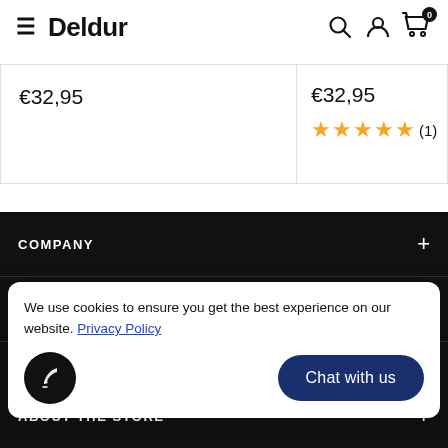Deldur
€32,95
€32,95 ★★★★★ (1)
COMPANY
POLICIES
We use cookies to ensure you get the best experience on our website. Privacy Policy
Chat with us
ABOUT THE STORE